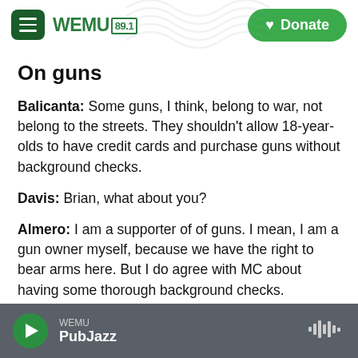WEMU 89.1 — Donate
On guns
Balicanta: Some guns, I think, belong to war, not belong to the streets. They shouldn't allow 18-year-olds to have credit cards and purchase guns without background checks.
Davis: Brian, what about you?
Almero: I am a supporter of of guns. I mean, I am a gun owner myself, because we have the right to bear arms here. But I do agree with MC about having some thorough background checks.
WEMU PubJazz